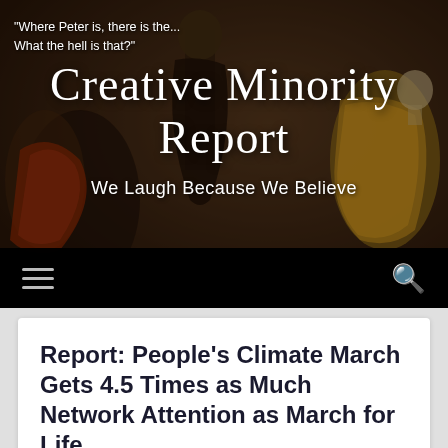[Figure (illustration): Header banner with painting of historical religious figures in dark tones, overlaid with site name and tagline]
"Where Peter is, there is the...
What the hell is that?"
Creative Minority Report
We Laugh Because We Believe
Navigation bar with hamburger menu and search icon
Report: People's Climate March Gets 4.5 Times as Much Network Attention as March for Life